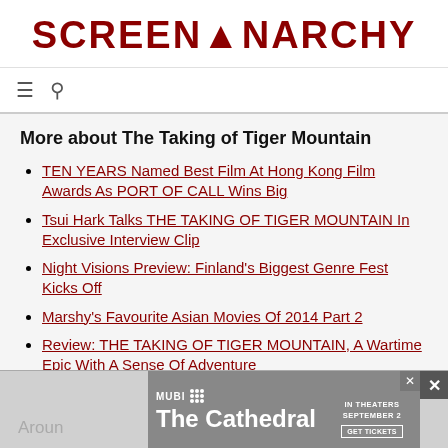SCREENANARCHY
More about The Taking of Tiger Mountain
TEN YEARS Named Best Film At Hong Kong Film Awards As PORT OF CALL Wins Big
Tsui Hark Talks THE TAKING OF TIGER MOUNTAIN In Exclusive Interview Clip
Night Visions Preview: Finland's Biggest Genre Fest Kicks Off
Marshy's Favourite Asian Movies Of 2014 Part 2
Review: THE TAKING OF TIGER MOUNTAIN, A Wartime Epic With A Sense Of Adventure
[Figure (screenshot): Advertisement banner for MUBI film 'The Cathedral' showing IN THEATERS SEPTEMBER 2 and GET TICKETS button]
Aroun